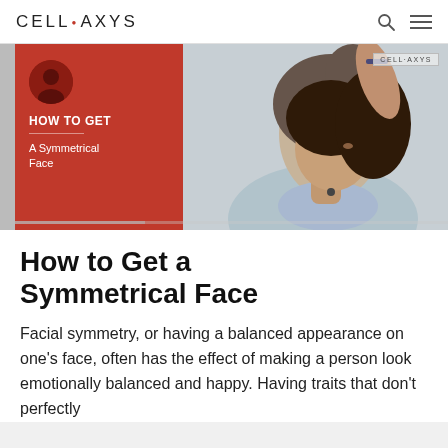CELL·AXYS
[Figure (illustration): Hero banner image: left red panel with 'HOW TO GET A Symmetrical Face' text over a dark silhouette avatar icon; right side shows a photo of a woman in profile with hand raised to hair, outdoors, light background. CELLAXYS watermark in top-right corner.]
How to Get a Symmetrical Face
Facial symmetry, or having a balanced appearance on one's face, often has the effect of making a person look emotionally balanced and happy. Having traits that don't perfectly